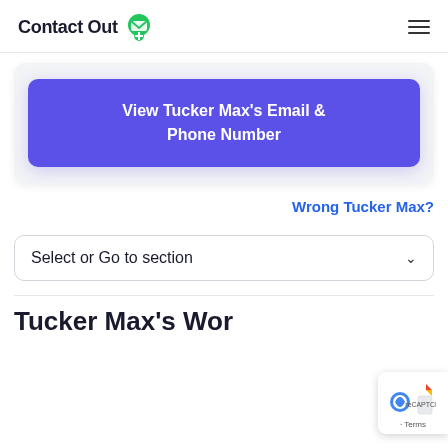ContactOut
View Tucker Max's Email & Phone Number
Wrong Tucker Max?
Select or Go to section
Tucker Max's Work